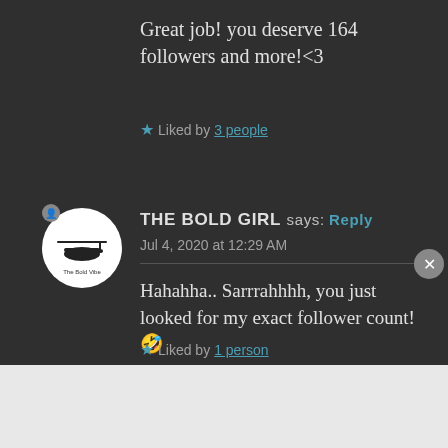Great job! you deserve 164 followers and more!<3
★ Liked by 3 people
[Figure (illustration): Avatar circle with helicopter/bold vibe logo for 'The Bold Vibe']
THE BOLD GIRL says: Reply
Jul 4, 2020 at 12:29 AM
Hahahha.. Sarrrahhhh, you just looked for my exact follower count!🤣
★ Liked by 1 person
[Figure (infographic): WooCommerce advertisement banner: How to start selling subscriptions online]